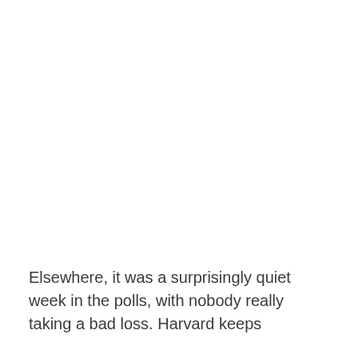Elsewhere, it was a surprisingly quiet week in the polls, with nobody really taking a bad loss. Harvard keeps